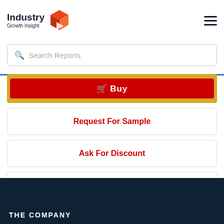[Figure (logo): Industry Growth Insight logo with red geometric box icon and hamburger menu icon]
Search Reports
Buy
Request For Sample
Ask For Discount
Enquiry Before Buying
THE COMPANY